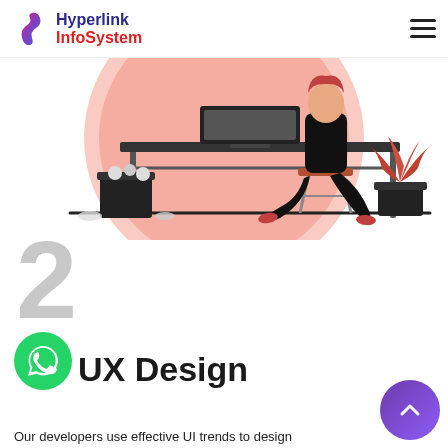Hyperlink InfoSystem
[Figure (illustration): Illustration of a person sitting on a stool at a desk, working. A trash bin with crumpled papers is on the left, and a plant in a dark pot is on the right. The background features a large pink/salmon circle.]
2
UX Design
Our developers use effective UI trends to design